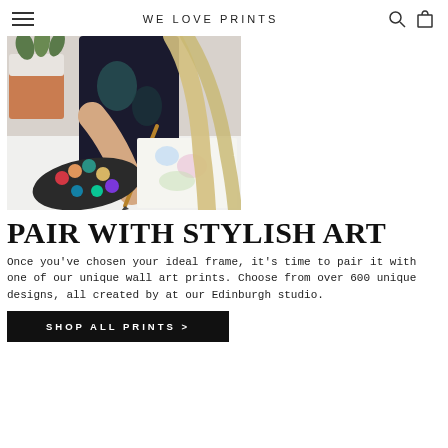WE LOVE PRINTS
[Figure (photo): A person painting with watercolours at a desk, holding a wooden brush over a colourful paint palette with a watercolour painting in progress on white paper. A plant in a terracotta pot is visible in the background.]
PAIR WITH STYLISH ART
Once you've chosen your ideal frame, it's time to pair it with one of our unique wall art prints. Choose from over 600 unique designs, all created by at our Edinburgh studio.
SHOP ALL PRINTS >